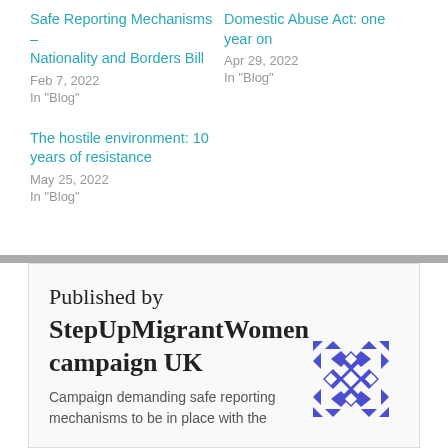Safe Reporting Mechanisms – Nationality and Borders Bill
Feb 7, 2022
In "Blog"
Domestic Abuse Act: one year on
Apr 29, 2022
In "Blog"
The hostile environment: 10 years of resistance
May 25, 2022
In "Blog"
Published by
StepUpMigrantWomen campaign UK
Campaign demanding safe reporting mechanisms to be in place with the